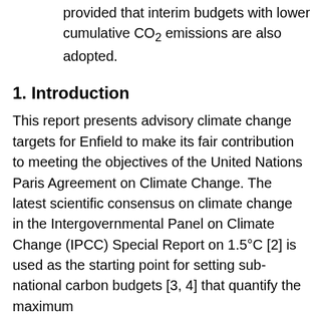provided that interim budgets with lower cumulative CO2 emissions are also adopted.
1. Introduction
This report presents advisory climate change targets for Enfield to make its fair contribution to meeting the objectives of the United Nations Paris Agreement on Climate Change. The latest scientific consensus on climate change in the Intergovernmental Panel on Climate Change (IPCC) Special Report on 1.5°C [2] is used as the starting point for setting sub-national carbon budgets [3, 4] that quantify the maximum